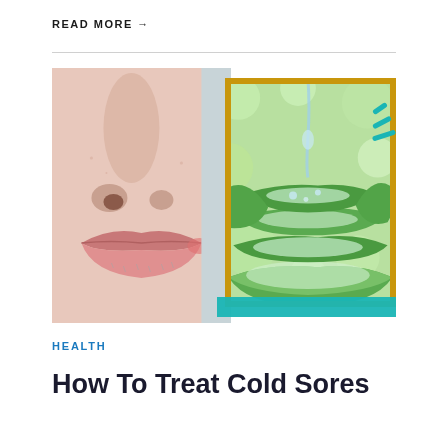READ MORE →
[Figure (photo): Composite image: left half shows a close-up of a human face (nose and lips area) with a cold sore; right half shows sliced aloe vera leaves stacked with water droplets on a green bokeh background, framed with a gold border and teal decorative brush strokes.]
HEALTH
How To Treat Cold Sores